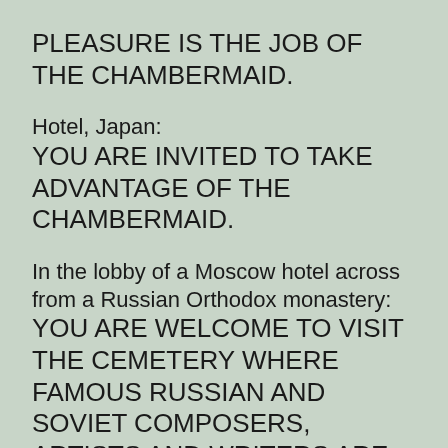PLEASURE IS THE JOB OF THE CHAMBERMAID.
Hotel, Japan:
YOU ARE INVITED TO TAKE ADVANTAGE OF THE CHAMBERMAID.
In the lobby of a Moscow hotel across from a Russian Orthodox monastery:
YOU ARE WELCOME TO VISIT THE CEMETERY WHERE FAMOUS RUSSIAN AND SOVIET COMPOSERS, ARTISTS AND WRITERS ARE BURIED DAILY EXCEPT THURSDAY.